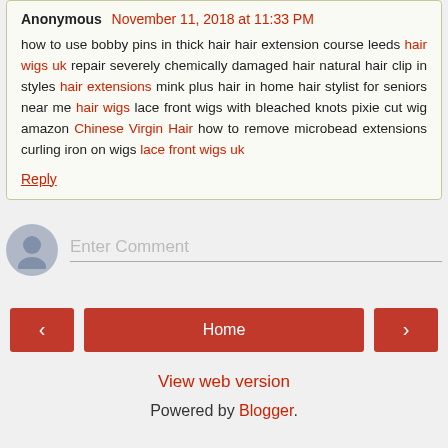Anonymous November 11, 2018 at 11:33 PM
how to use bobby pins in thick hair hair extension course leeds hair wigs uk repair severely chemically damaged hair natural hair clip in styles hair extensions mink plus hair in home hair stylist for seniors near me hair wigs lace front wigs with bleached knots pixie cut wig amazon Chinese Virgin Hair how to remove microbead extensions curling iron on wigs lace front wigs uk
Reply
[Figure (other): Comment input area with avatar icon and Enter Comment placeholder text]
[Figure (other): Navigation bar with left arrow button, Home button, and right arrow button]
View web version
Powered by Blogger.